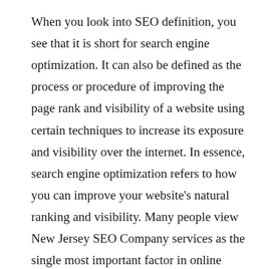When you look into SEO definition, you see that it is short for search engine optimization. It can also be defined as the process or procedure of improving the page rank and visibility of a website using certain techniques to increase its exposure and visibility over the internet. In essence, search engine optimization refers to how you can improve your website's natural ranking and visibility. Many people view New Jersey SEO Company services as the single most important factor in online marketing and business. Because of this, many people today are looking towards online marketing and business techniques such as SEO to make money and make it big in the world of online marketing and business.